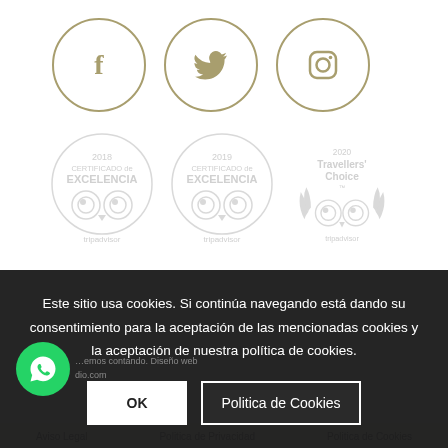[Figure (logo): Three social media icons in gold circles: Facebook, Twitter, Instagram]
[Figure (logo): Three TripAdvisor badges: 2018 Certificado de Excelencia, 2019 Certificado de Excelencia, 2020 Travellers' Choice]
Este sitio usa cookies. Si continúa navegando está dando su consentimiento para la aceptación de las mencionadas cookies y la aceptación de nuestra política de cookies.
OK
Politica de Cookies
Aviso Legal   Politica de Privacidad   Politica de Cookies